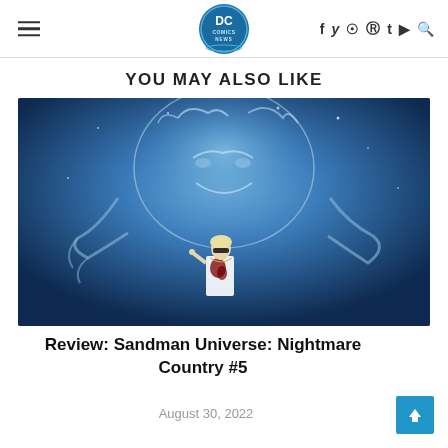DC Comics News — hamburger menu, logo, social icons (f, twitter, instagram, pinterest, t, youtube, search)
YOU MAY ALSO LIKE
[Figure (photo): Comic book art image showing a blue-toned supernatural giant face looming behind a blonde person in a bloody white shirt wearing sunglasses — cover art for Sandman Universe: Nightmare Country #5]
Review: Sandman Universe: Nightmare Country #5
August 30, 2022